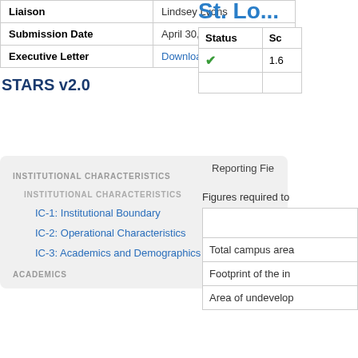|  |  |
| --- | --- |
| Liaison | Lindsey Lyons |
| Submission Date | April 30, 2015 |
| Executive Letter | Download |
STARS v2.0
INSTITUTIONAL CHARACTERISTICS
INSTITUTIONAL CHARACTERISTICS
IC-1: Institutional Boundary
IC-2: Operational Characteristics
IC-3: Academics and Demographics
ACADEMICS
| Status | Sc |
| --- | --- |
| ✓ | 1.6 |
Reporting Fie
Figures required to
|  |
| Total campus area |
| Footprint of the in |
| Area of undevelop |